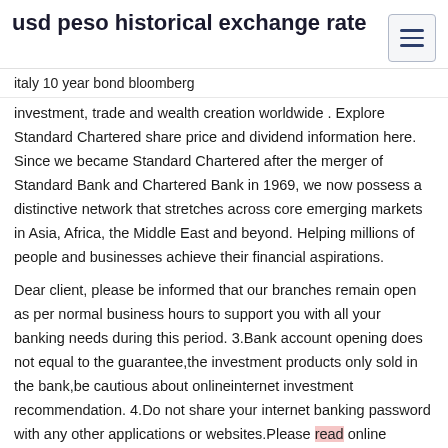usd peso historical exchange rate
italy 10 year bond bloomberg
investment, trade and wealth creation worldwide . Explore Standard Chartered share price and dividend information here. Since we became Standard Chartered after the merger of Standard Bank and Chartered Bank in 1969, we now possess a distinctive network that stretches across core emerging markets in Asia, Africa, the Middle East and beyond. Helping millions of people and businesses achieve their financial aspirations.
Dear client, please be informed that our branches remain open as per normal business hours to support you with all your banking needs during this period. 3.Bank account opening does not equal to the guarantee,the investment products only sold in the bank,be cautious about onlineinternet investment recommendation. 4.Do not share your internet banking password with any other applications or websites.Please read online security advice.